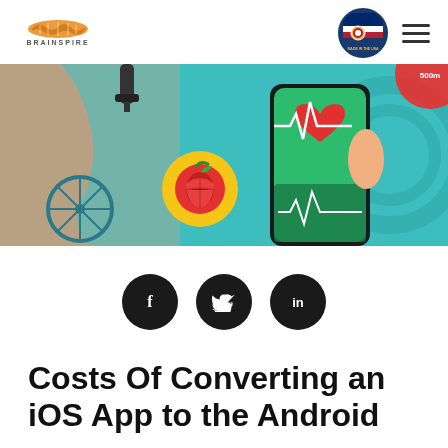BRAINSPIRE
[Figure (illustration): Health and fitness app illustration showing a hand holding a smartphone with heart rate monitor display, an apple icon, a bicycle, and health tracking visuals on a teal background]
[Figure (infographic): Three social media share buttons: Facebook (f), Twitter (bird), LinkedIn (in) as dark circular icons]
Costs Of Converting an iOS App to the Android